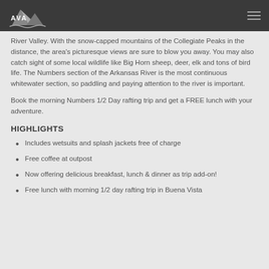AVA logo and navigation
River Valley. With the snow-capped mountains of the Collegiate Peaks in the distance, the area's picturesque views are sure to blow you away. You may also catch sight of some local wildlife like Big Horn sheep, deer, elk and tons of bird life. The Numbers section of the Arkansas River is the most continuous whitewater section, so paddling and paying attention to the river is important.
Book the morning Numbers 1/2 Day rafting trip and get a FREE lunch with your adventure.
HIGHLIGHTS
Includes wetsuits and splash jackets free of charge
Free coffee at outpost
Now offering delicious breakfast, lunch & dinner as trip add-on!
Free lunch with morning 1/2 day rafting trip in Buena Vista